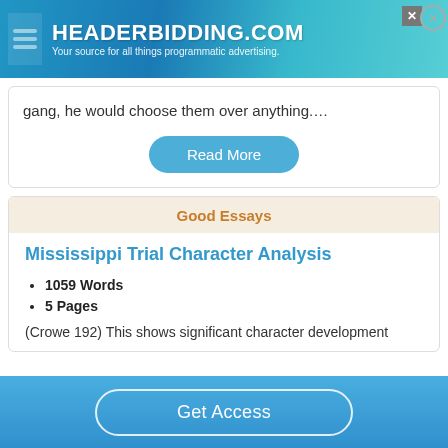[Figure (screenshot): Advertisement banner for HEADERBIDDING.COM with tagline 'Your source for all things programmatic advertising.']
gang, he would choose them over anything....
Read More
Good Essays
Mississippi Trial Character Analysis
1059 Words
5 Pages
(Crowe 192) This shows significant character development
Get Access